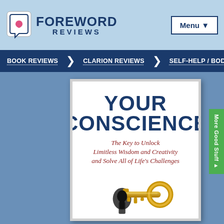[Figure (logo): Foreword Reviews logo with chat bubble icon containing a heart, and bold text FOREWORD REVIEWS]
Menu ▼
BOOK REVIEWS
CLARION REVIEWS
SELF-HELP / BODY
[Figure (photo): Book cover for 'Your Conscience: The Key to Unlock Limitless Wisdom and Creativity and Solve All of Life's Challenges' featuring large blue bold title text, red italic subtitle, and a gold key illustration going into a keyhole at the bottom]